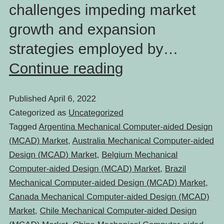challenges impeding market growth and expansion strategies employed by… Continue reading
Published April 6, 2022
Categorized as Uncategorized
Tagged Argentina Mechanical Computer-aided Design (MCAD) Market, Australia Mechanical Computer-aided Design (MCAD) Market, Belgium Mechanical Computer-aided Design (MCAD) Market, Brazil Mechanical Computer-aided Design (MCAD) Market, Canada Mechanical Computer-aided Design (MCAD) Market, Chile Mechanical Computer-aided Design (MCAD) Market, China Mechanical Computer-aided Design (MCAD) Market, Columbia Mechanical Computer-aided Design (MCAD) Market, Egypt Mechanical Computer-aided